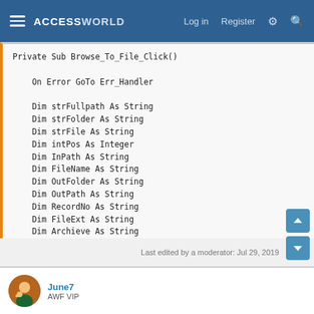ACCESSWORLD  Log in  Register
Private Sub Browse_To_File_Click()

    On Error GoTo Err_Handler

    Dim strFullpath As String
    Dim strFolder As String
    Dim strFile As String
    Dim intPos As Integer
    Dim InPath As String
    Dim FileName As String
    Dim OutFolder As String
    Dim OutPath As String
    Dim RecordNo As String
    Dim FileExt As String
    Dim Archieve As String
    'Dim fsFolder As Object
Last edited by a moderator: Jul 29, 2019
June7
AWF VIP